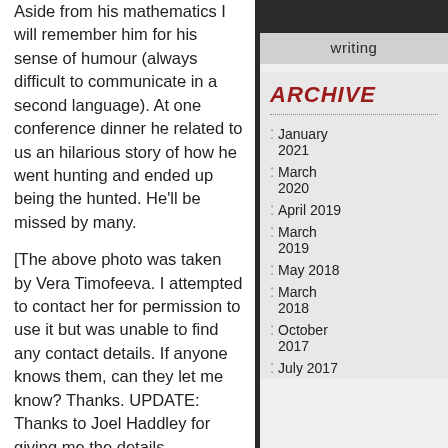Aside from his mathematics I will remember him for his sense of humour (always difficult to communicate in a second language). At one conference dinner he related to us an hilarious story of how he went hunting and ended up being the hunted. He'll be missed by many.
[The above photo was taken by Vera Timofeeva. I attempted to contact her for permission to use it but was unable to find any contact details. If anyone knows them, can they let me know? Thanks. UPDATE: Thanks to Joel Haddley for giving me the details. FURTHER UPDATE: Vera has informed me that Ugo Boscain took the picture. My thanks to him for allowing me to use it.]
GET THE
writing
ARCHIVE
January 2021
March 2020
April 2019
March 2019
May 2018
March 2018
October 2017
July 2017